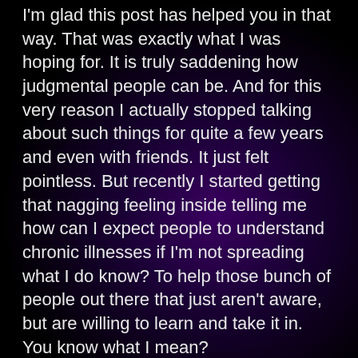I'm glad this post has helped you in that way. That was exactly what I was hoping for. It is truly saddening how judgmental people can be. And for this very reason I actually stopped talking about such things for quite a few years and even with friends. It just felt pointless. But recently I started getting that nagging feeling inside telling me how can I expect people to understand chronic illnesses if I'm not spreading what I do know? To help those bunch of people out there that just aren't aware, but are willing to learn and take it in. You know what I mean?
I agree everyone deserves to at least be considered and supported regardless how one feels on a topic. And definitely not judged for things out of their control. People need to make